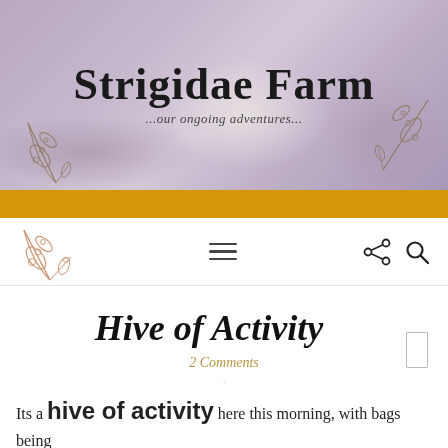[Figure (illustration): Website header banner with blurred background photo of hands holding a coffee mug, overlaid with site title 'Strigidae Farm' in large cursive font and subtitle '...our ongoing adventures...' with botanical leaf decorations on left and right sides]
Strigidae Farm
...our ongoing adventures...
[Figure (illustration): Navigation bar with small botanical leaf logo on left, hamburger menu icon (three horizontal lines) in center, share icon and search (magnifying glass) icon on right]
Hive of Activity
2 Comments
Its a hive of activity here this morning, with bags being